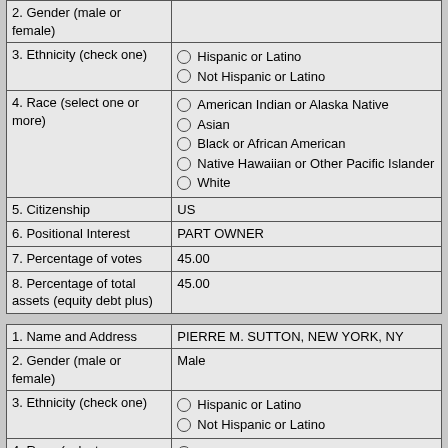| Field | Value |
| --- | --- |
| 2. Gender (male or female) |  |
| 3. Ethnicity (check one) | ○ Hispanic or Latino
○ Not Hispanic or Latino |
| 4. Race (select one or more) | ○ American Indian or Alaska Native
○ Asian
○ Black or African American
○ Native Hawaiian or Other Pacific Islander
○ White |
| 5. Citizenship | US |
| 6. Positional Interest | PART OWNER |
| 7. Percentage of votes | 45.00 |
| 8. Percentage of total assets (equity debt plus) | 45.00 |
| Field | Value |
| --- | --- |
| 1. Name and Address | PIERRE M. SUTTON, NEW YORK, NY |
| 2. Gender (male or female) | Male |
| 3. Ethnicity (check one) | ○ Hispanic or Latino
○ Not Hispanic or Latino |
| 4. Race (select one or more) | ○ American Indian or Alaska Native
○ ... |